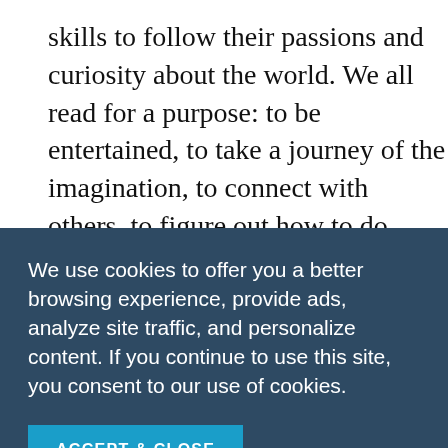skills to follow their passions and curiosity about the world. We all read for a purpose: to be entertained, to take a journey of the imagination, to connect with others, to figure out how to do something, and to learn about history, science, the arts, and everything else.
Learning to read is complex. Children don't
We use cookies to offer you a better browsing experience, provide ads, analyze site traffic, and personalize content. If you continue to use this site, you consent to our use of cookies.
ACCEPT & CLOSE